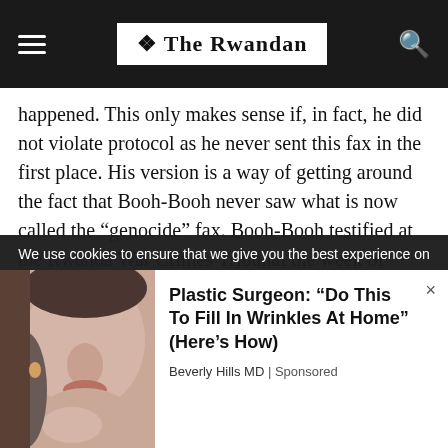The Rwandan
happened. This only makes sense if, in fact, he did not violate protocol as he never sent this fax in the first place. His version is a way of getting around the fact that Booh-Booh never saw what is now called the “genocide” fax. Booh-Booh testified at the Rwanda War Crimes Tribunal the week of November 21, 2005 that he never saw the fax Dallaire says he sent and that further that General Dallaire never mentioned to him in their meeting of January 12, 1994 that the informant mentioned the killing of Belgians or Tutsis. Booh-Booh also testified that when he and Dallaire met with several western ambassadors, including the Belgian ambassador, Dallaire never mentioned the killing of
We use cookies to ensure that we give you the best experience on
[Figure (photo): Close-up photo of a woman's face touching her cheek, with another person partially visible in the background]
Plastic Surgeon: “Do This To Fill In Wrinkles At Home” (Here’s How)
Beverly Hills MD | Sponsored